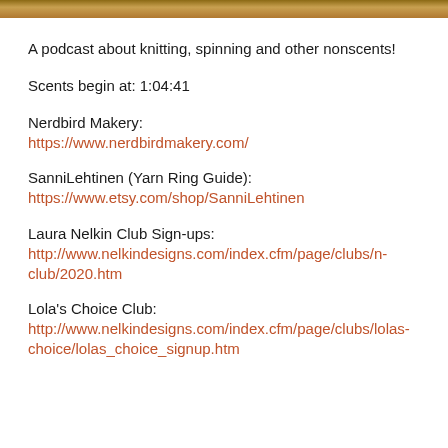[Figure (photo): Image strip at top of page, appears to be a decorative banner or photo header]
A podcast about knitting, spinning and other nonscents!
Scents begin at: 1:04:41
Nerdbird Makery:
https://www.nerdbirdmakery.com/
SanniLehtinen (Yarn Ring Guide):
https://www.etsy.com/shop/SanniLehtinen
Laura Nelkin Club Sign-ups:
http://www.nelkindesigns.com/index.cfm/page/clubs/n-club/2020.htm
Lola's Choice Club:
http://www.nelkindesigns.com/index.cfm/page/clubs/lolas-choice/lolas_choice_signup.htm